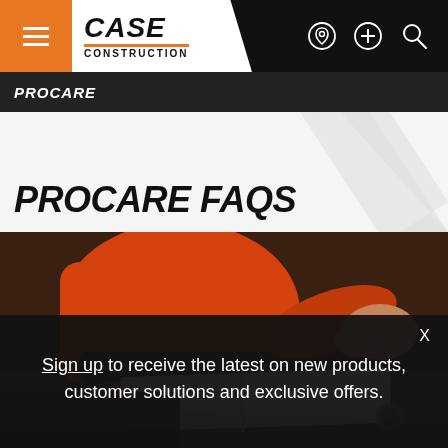[Figure (screenshot): CASE Construction website navigation bar with hamburger menu (orange background), CASE Construction logo on white diagonal panel, and icons for dealer locator, plus, and search on black background]
PROCARE
PROCARE FAQS
[Figure (photo): Construction worker in orange high-visibility vest looking at documents/book on a construction site, with laptop visible in lower portion]
Sign up to receive the latest on new products, customer solutions and exclusive offers.